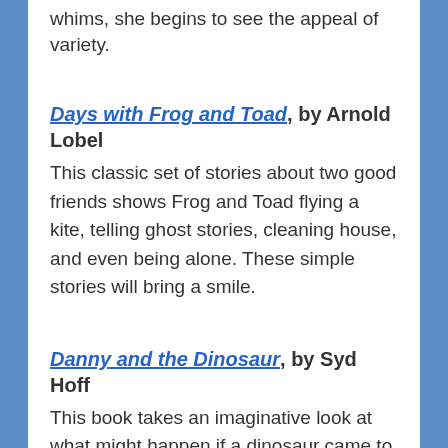whims, she begins to see the appeal of variety.
Days with Frog and Toad, by Arnold Lobel
This classic set of stories about two good friends shows Frog and Toad flying a kite, telling ghost stories, cleaning house, and even being alone. These simple stories will bring a smile.
Danny and the Dinosaur, by Syd Hoff
This book takes an imaginative look at what might happen if a dinosaur came to play. (He wouldn't be very good at hide-and-seek.)
The Cat in the Hat, by Dr. Seuss